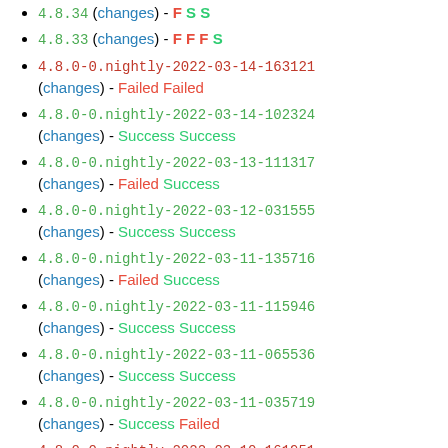4.8.34 (changes) - F S S
4.8.33 (changes) - F F F S
4.8.0-0.nightly-2022-03-14-163121 (changes) - Failed Failed
4.8.0-0.nightly-2022-03-14-102324 (changes) - Success Success
4.8.0-0.nightly-2022-03-13-111317 (changes) - Failed Success
4.8.0-0.nightly-2022-03-12-031555 (changes) - Success Success
4.8.0-0.nightly-2022-03-11-135716 (changes) - Failed Success
4.8.0-0.nightly-2022-03-11-115946 (changes) - Success Success
4.8.0-0.nightly-2022-03-11-065536 (changes) - Success Success
4.8.0-0.nightly-2022-03-11-035719 (changes) - Success Failed
4.8.0-0.nightly-2022-03-10-161951